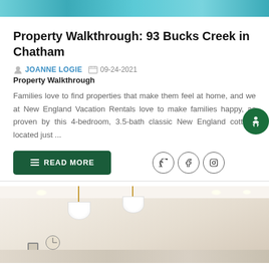[Figure (photo): Top cropped photo showing teal/turquoise colored decor or pool area]
Property Walkthrough: 93 Bucks Creek in Chatham
JOANNE LOGIE   09-24-2021
Property Walkthrough
Families love to find properties that make them feel at home, and we at New England Vacation Rentals love to make families happy, as proven by this 4-bedroom, 3.5-bath classic New England cottage located just ...
READ MORE
[Figure (photo): Interior kitchen photo with pendant lights hanging from ceiling, warm neutral tones, clock on wall]